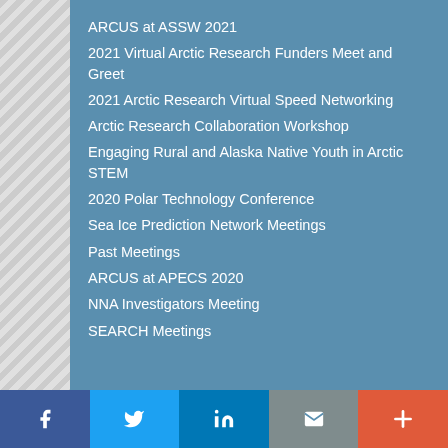ARCUS at ASSW 2021
2021 Virtual Arctic Research Funders Meet and Greet
2021 Arctic Research Virtual Speed Networking
Arctic Research Collaboration Workshop
Engaging Rural and Alaska Native Youth in Arctic STEM
2020 Polar Technology Conference
Sea Ice Prediction Network Meetings
Past Meetings
ARCUS at APECS 2020
NNA Investigators Meeting
SEARCH Meetings
[Figure (other): Social media share bar with Facebook, Twitter, LinkedIn, Email, and More buttons]